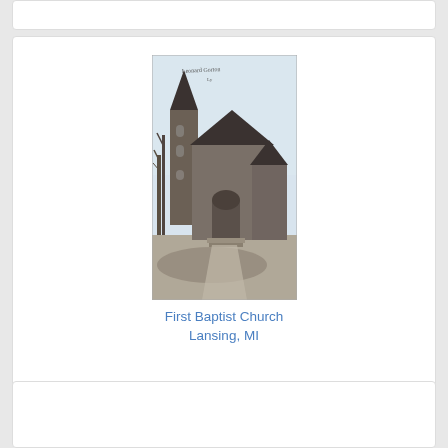[Figure (photo): Black and white vintage postcard photograph of First Baptist Church in Lansing, MI. The image shows a Gothic-style stone church with a tall tower on the left side and steep gabled rooflines. Bare trees are visible in the background. Handwritten text appears at the top of the postcard image.]
First Baptist Church
Lansing, MI